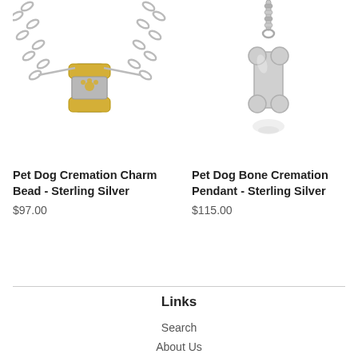[Figure (photo): Pet Dog Cremation Charm Bead on a silver chain - showing a cylindrical bead with gold dog paw/bone detail on sterling silver chain]
Pet Dog Cremation Charm Bead - Sterling Silver
$97.00
[Figure (photo): Pet Dog Bone Cremation Pendant on a snake chain - a bone-shaped sterling silver pendant with reflection below]
Pet Dog Bone Cremation Pendant - Sterling Silver
$115.00
Links
Search
About Us